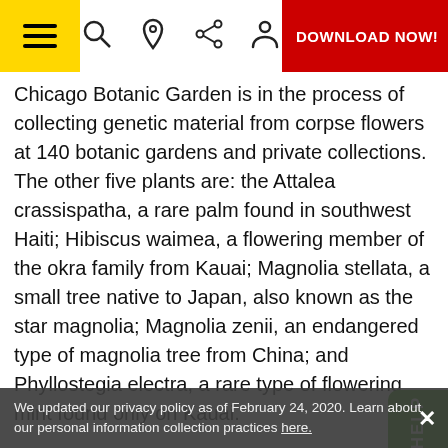Navigation bar with hamburger menu, search, location, share, profile icons, and DOWNLOAD NOW! button
Chicago Botanic Garden is in the process of collecting genetic material from corpse flowers at 140 botanic gardens and private collections. The other five plants are: the Attalea crassispatha, a rare palm found in southwest Haiti; Hibiscus waimea, a flowering member of the okra family from Kauai; Magnolia stellata, a small tree native to Japan, also known as the star magnolia; Magnolia zenii, an endangered type of magnolia tree from China; and Phyllostegia electra, a rare type of flowering mint found only on Kauai.
For help in producing the studbooks for each plant species, the gardens are turning to the Brookfield Zoo west of Chicago. The zoo cares for 45 endangered animal species that have "species survival plans," a sizable chunk of the total 125 species covered by such documents. North
We updated our privacy policy as of February 24, 2020. Learn about our personal information collection practices here.